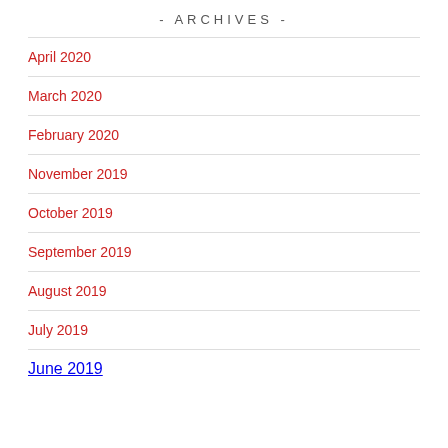- ARCHIVES -
April 2020
March 2020
February 2020
November 2019
October 2019
September 2019
August 2019
July 2019
June 2019